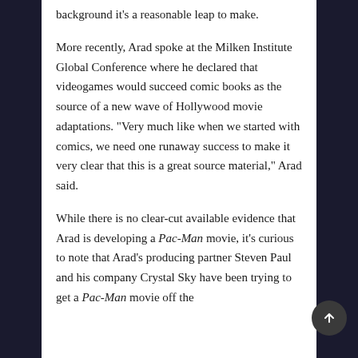background it's a reasonable leap to make.
More recently, Arad spoke at the Milken Institute Global Conference where he declared that videogames would succeed comic books as the source of a new wave of Hollywood movie adaptations. "Very much like when we started with comics, we need one runaway success to make it very clear that this is a great source material," Arad said.
While there is no clear-cut available evidence that Arad is developing a Pac-Man movie, it's curious to note that Arad's producing partner Steven Paul and his company Crystal Sky have been trying to get a Pac-Man movie off the